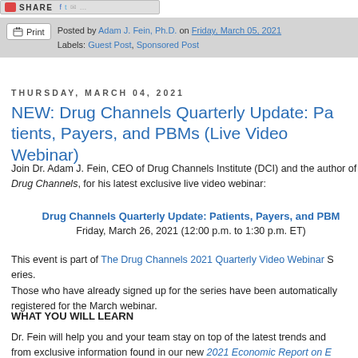SHARE [social icons]
Posted by Adam J. Fein, Ph.D. on Friday, March 05, 2021
Labels: Guest Post, Sponsored Post
THURSDAY, MARCH 04, 2021
NEW: Drug Channels Quarterly Update: Patients, Payers, and PBMs (Live Video Webinar)
Join Dr. Adam J. Fein, CEO of Drug Channels Institute (DCI) and the author of Drug Channels, for his latest exclusive live video webinar:
Drug Channels Quarterly Update: Patients, Payers, and PBMs
Friday, March 26, 2021 (12:00 p.m. to 1:30 p.m. ET)
This event is part of The Drug Channels 2021 Quarterly Video Webinar Series. Those who have already signed up for the series have been automatically registered for the March webinar.
WHAT YOU WILL LEARN
Dr. Fein will help you and your team stay on top of the latest trends and insights from exclusive information found in our new 2021 Economic Report on ...